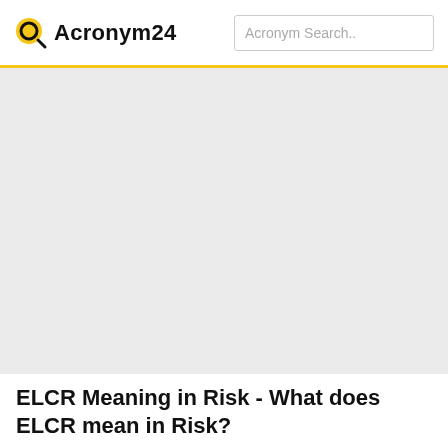Acronym24  Acronym Search..
[Figure (other): Advertisement placeholder area with light gray background]
ELCR Meaning in Risk - What does ELCR mean in Risk?
The meaning of ELCR is Excess Lifetime Cancer Risk and other